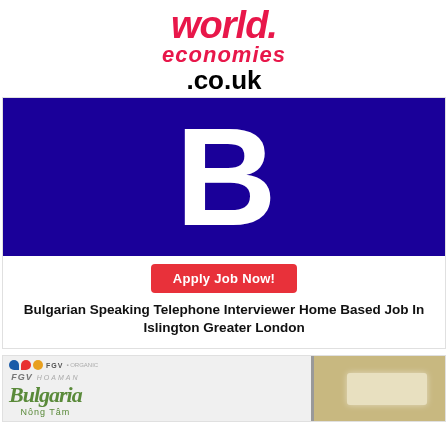world. economies .co.uk
[Figure (logo): Large white letter B on dark blue background]
Apply Job Now!
Bulgarian Speaking Telephone Interviewer Home Based Job In Islington Greater London
[Figure (photo): FGV branded room with frosted glass panels showing Bulgaria script text and Nong Tam text]